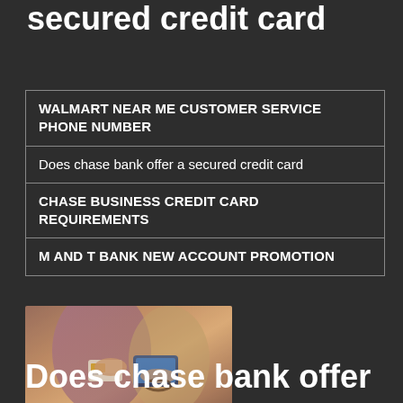Does chase bank offer a secured credit card
| WALMART NEAR ME CUSTOMER SERVICE PHONE NUMBER |
| Does chase bank offer a secured credit card |
| CHASE BUSINESS CREDIT CARD REQUIREMENTS |
| M AND T BANK NEW ACCOUNT PROMOTION |
[Figure (photo): Person handing a credit card while another person holds a smartphone at a point-of-sale terminal]
Does chase bank offer a